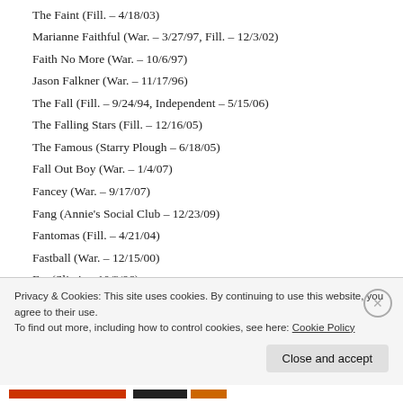The Faint (Fill. – 4/18/03)
Marianne Faithful (War. – 3/27/97, Fill. – 12/3/02)
Faith No More (War. – 10/6/97)
Jason Falkner (War. – 11/17/96)
The Fall (Fill. – 9/24/94, Independent – 5/15/06)
The Falling Stars (Fill. – 12/16/05)
The Famous (Starry Plough – 6/18/05)
Fall Out Boy (War. – 1/4/07)
Fancey (War. – 9/17/07)
Fang (Annie's Social Club – 12/23/09)
Fantomas (Fill. – 4/21/04)
Fastball (War. – 12/15/00)
Far (Slim's – 10/3/96)
Privacy & Cookies: This site uses cookies. By continuing to use this website, you agree to their use. To find out more, including how to control cookies, see here: Cookie Policy
Close and accept